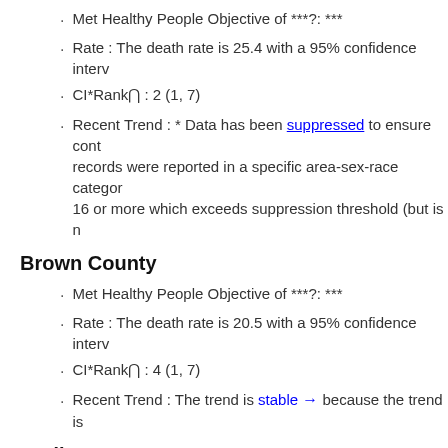Met Healthy People Objective of ***?: ***
Rate : The death rate is 25.4 with a 95% confidence interv
CI*Rank⋒ : 2 (1, 7)
Recent Trend : * Data has been suppressed to ensure cont records were reported in a specific area-sex-race category 16 or more which exceeds suppression threshold (but is n
Brown County
Met Healthy People Objective of ***?: ***
Rate : The death rate is 20.5 with a 95% confidence interv
CI*Rank⋒ : 4 (1, 7)
Recent Trend : The trend is stable → because the trend is
Codington County
Met Healthy People Objective of ***?: ***
Rate : The death rate is 26.3 with a 95% confidence interv
CI*Rank⋒ : 1 (1, 6)
Recent Trend : The trend is stable → because the trend i